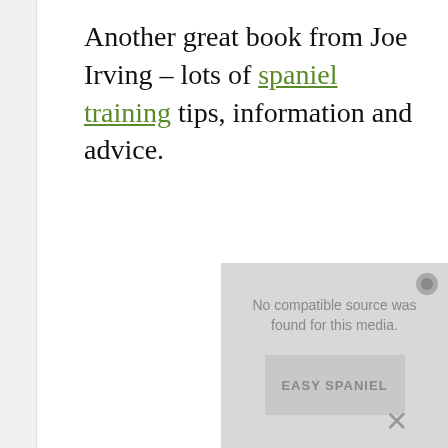Another great book from Joe Irving – lots of spaniel training tips, information and advice.
[Figure (screenshot): Media player placeholder with message 'No compatible source was found for this media.' and Easy Spaniel logo/branding in background.]